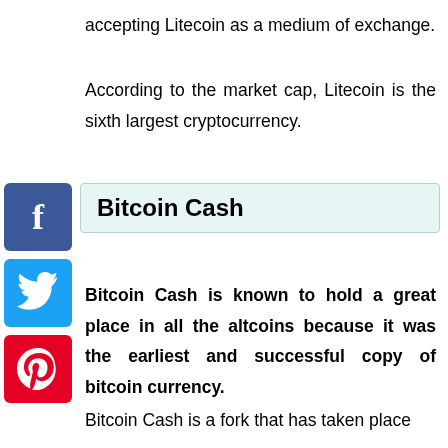accepting Litecoin as a medium of exchange.
According to the market cap, Litecoin is the sixth largest cryptocurrency.
[Figure (infographic): Social media share buttons: Facebook (blue), Twitter (blue), Pinterest (red)]
Bitcoin Cash
Bitcoin Cash is known to hold a great place in all the altcoins because it was the earliest and successful copy of bitcoin currency.
Bitcoin Cash is a fork that has taken place